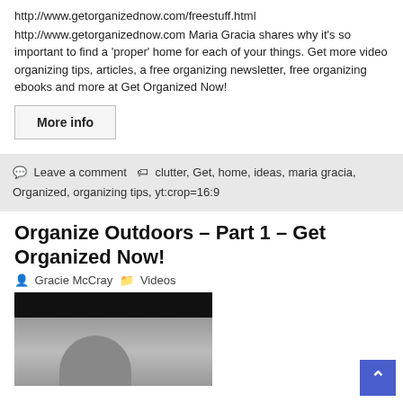http://www.getorganizednow.com/freestuff.html
http://www.getorganizednow.com Maria Gracia shares why it's so important to find a 'proper' home for each of your things. Get more video organizing tips, articles, a free organizing newsletter, free organizing ebooks and more at Get Organized Now!
More info
Leave a comment   clutter, Get, home, ideas, maria gracia, Organized, organizing tips, yt:crop=16:9
Organize Outdoors – Part 1 – Get Organized Now!
Gracie McCray   Videos
[Figure (photo): Thumbnail image showing a person outdoors with trees in the background, top portion is black/dark overlay.]